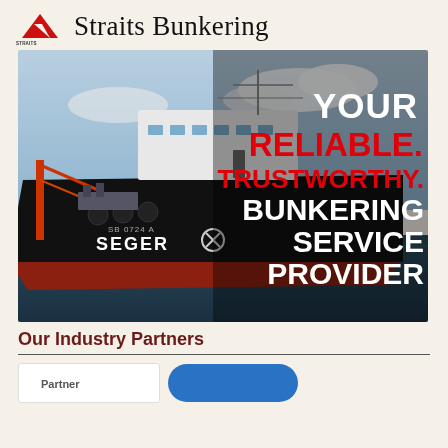Straits Bunkering
[Figure (photo): A bunkering vessel named SEGER (SB 0724A) photographed at sea with overlaid text reading YOUR RELIABLE. TRUSTWORTHY. BUNKERING SERVICE PROVIDER]
Our Industry Partners
[Figure (other): Partner logos/cards area including a blue button and white card]